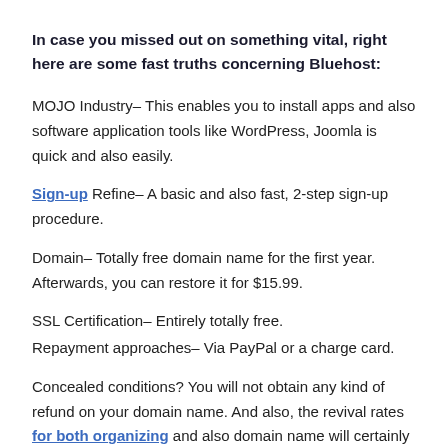In case you missed out on something vital, right here are some fast truths concerning Bluehost:
MOJO Industry– This enables you to install apps and also software application tools like WordPress, Joomla is quick and also easily.
Sign-up Refine– A basic and also fast, 2-step sign-up procedure.
Domain– Totally free domain name for the first year. Afterwards, you can restore it for $15.99.
SSL Certification– Entirely totally free.
Repayment approaches– Via PayPal or a charge card.
Concealed conditions? You will not obtain any kind of refund on your domain name. And also, the revival rates for both organizing and also domain name will certainly raise.